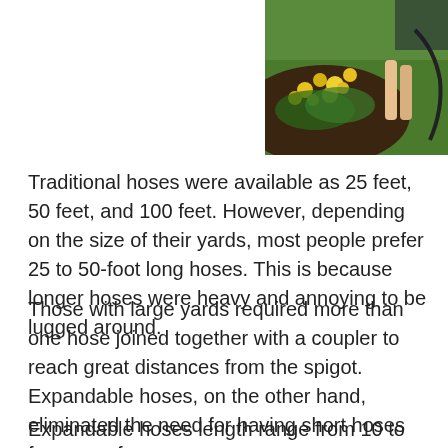[Figure (photo): A person watering a flower garden bed with yellow flowers surrounded by green grass, with a hose visible.]
Traditional hoses were available as 25 feet, 50 feet, and 100 feet. However, depending on the size of their yards, most people prefer 25 to 50-foot long hoses. This is because longer hoses were heavy and annoying to be lugged around.
Those with large yards required more than one hose joined together with a coupler to reach great distances from the spigot. Expandable hoses, on the other hand, eliminated the need for having short hoses for ease of use.
Expandable hoses length range from 10 to 200 feet.